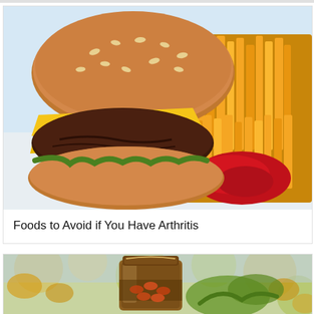[Figure (photo): A cheeseburger with sesame bun and cheese slices next to a large pile of french fries and a dollop of ketchup on a white plate]
Foods to Avoid if You Have Arthritis
[Figure (photo): A glass jar with a cork lid containing capsules/supplements, surrounded by blurry autumn leaves background]